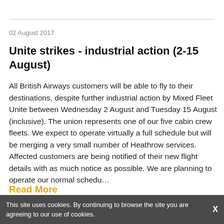02 August 2017
Unite strikes - industrial action (2-15 August)
All British Airways customers will be able to fly to their destinations, despite further industrial action by Mixed Fleet Unite between Wednesday 2 August and Tuesday 15 August (inclusive). The union represents one of our five cabin crew fleets. We expect to operate virtually a full schedule but will be merging a very small number of Heathrow services. Affected customers are being notified of their new flight details with as much notice as possible. We are planning to operate our normal schedu…
Read More
This site uses cookies. By continuing to browse the site you are agreeing to our use of cookies.